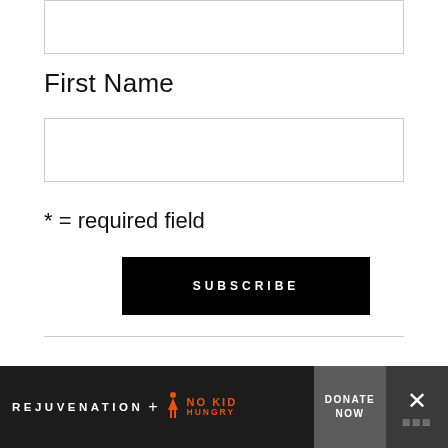(input box — top, partial)
First Name
(First Name input field)
* = required field
SUBSCRIBE
LOOKING FOR SOMETHING SPECIAL?
(search input box — partial)
[Figure (other): Advertisement bar: REJUVENATION + NO KID HUNGRY logos with DONATE NOW button and close (X) button]